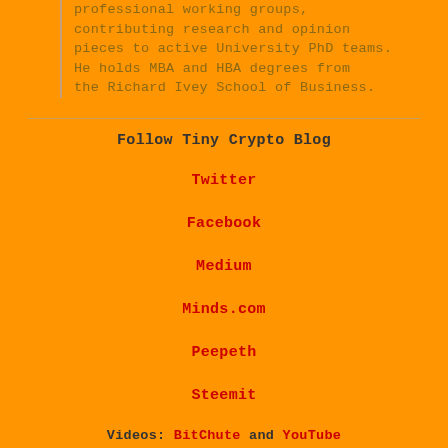professional working groups, contributing research and opinion pieces to active University PhD teams. He holds MBA and HBA degrees from the Richard Ivey School of Business.
Follow Tiny Crypto Blog
Twitter
Facebook
Medium
Minds.com
Peepeth
Steemit
Videos: BitChute and YouTube